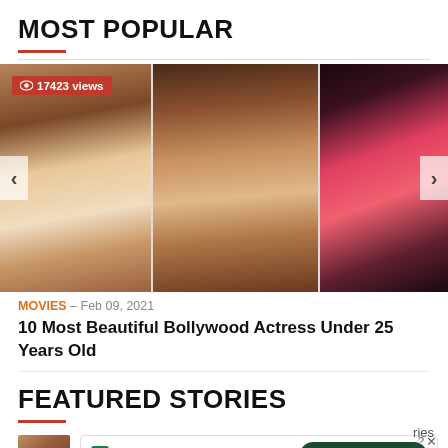MOST POPULAR
[Figure (photo): Carousel of three Bollywood actresses photos. Left: woman looking over shoulder, center: woman with long wavy brown hair, right: woman in red outfit. Badge showing '17423 views'. Navigation arrows on sides.]
MOVIES - Feb 09, 2021
10 Most Beautiful Bollywood Actress Under 25 Years Old
FEATURED STORIES
[Figure (photo): Small thumbnail of a person, partially visible]
Fast credit card payoff
Download Now →
ries